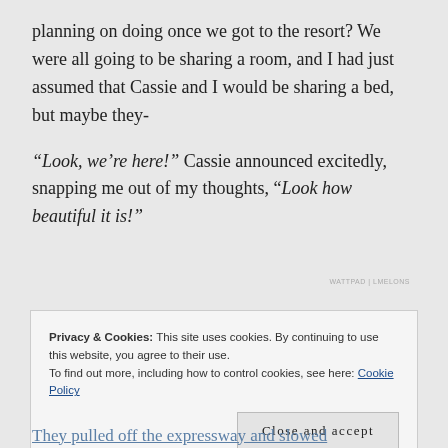planning on doing once we got to the resort? We were all going to be sharing a room, and I had just assumed that Cassie and I would be sharing a bed, but maybe they-
“Look, we’re here!” Cassie announced excitedly, snapping me out of my thoughts, “Look how beautiful it is!”
WATTPAD | LMELONS
Privacy & Cookies: This site uses cookies. By continuing to use this website, you agree to their use.
To find out more, including how to control cookies, see here: Cookie Policy
Close and accept
They pulled off the expressway and slowed down as they headed